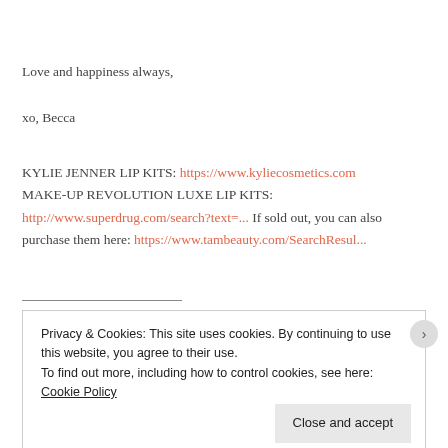Love and happiness always,
xo, Becca
KYLIE JENNER LIP KITS: https://www.kyliecosmetics.com
MAKE-UP REVOLUTION LUXE LIP KITS:
http://www.superdrug.com/search?text=... If sold out, you can also purchase them here: https://www.tambeauty.com/SearchResul...
Privacy & Cookies: This site uses cookies. By continuing to use this website, you agree to their use.
To find out more, including how to control cookies, see here: Cookie Policy
Close and accept